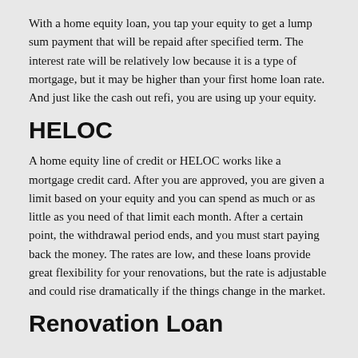With a home equity loan, you tap your equity to get a lump sum payment that will be repaid after specified term. The interest rate will be relatively low because it is a type of mortgage, but it may be higher than your first home loan rate.  And just like the cash out refi, you are using up your equity.
HELOC
A home equity line of credit or HELOC works like a mortgage credit card. After you are approved, you are given a limit based on your equity and you can spend as much or as little as you need of that limit each month. After a certain point, the withdrawal period ends, and you must start paying back the money. The rates are low, and these loans provide great flexibility for your renovations, but the rate is adjustable and could rise dramatically if the things change in the market.
Renovation Loan